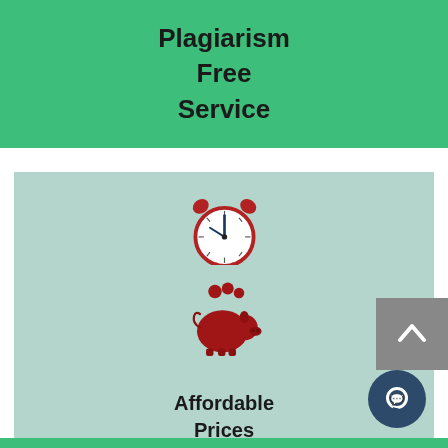Plagiarism Free Service
[Figure (illustration): Alarm clock icon in red with clock hands pointing to approximately 12:10]
24/7 Support
[Figure (illustration): Piggy bank icon in red with coins above it]
Affordable Prices